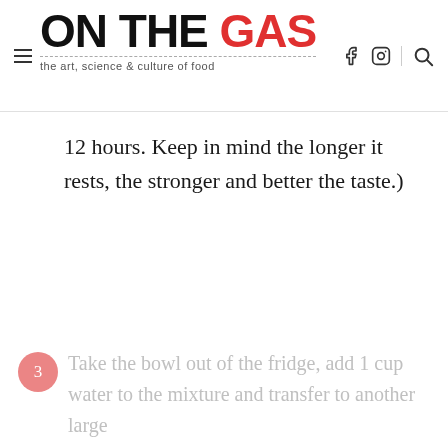ON THE GAS — the art, science & culture of food
12 hours. Keep in mind the longer it rests, the stronger and better the taste.)
3. Take the bowl out of the fridge, add 1 cup water to the mixture and transfer to another large